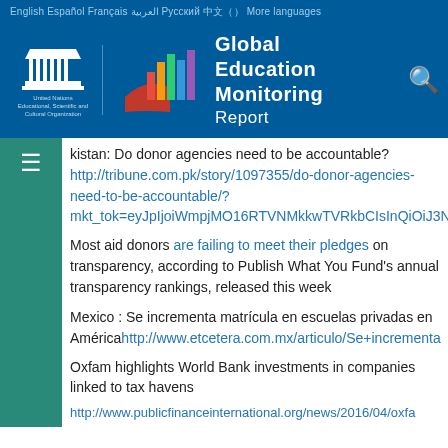English  Español  Français  العربية  Русский  中文（）  More languages
[Figure (logo): UNESCO and Global Education Monitoring Report logo on blue background]
kistan: Do donor agencies need to be accountable? http://tribune.com.pk/story/1097355/do-donor-agencies-need-to-be-accountable/?mkt_tok=eyJpIjoiWmpjMO16RTVNMkkwTVRkbCIsInQiOiJ3NXh6
Most aid donors are failing to meet their pledges on transparency, according to Publish What You Fund's annual transparency rankings, released this week
Mexico : Se incrementa matrícula en escuelas privadas en América http://www.etcetera.com.mx/articulo/Se+incrementa
Oxfam highlights World Bank investments in companies linked to tax havens http://www.publicfinanceinternational.org/news/2016/04/oxfa